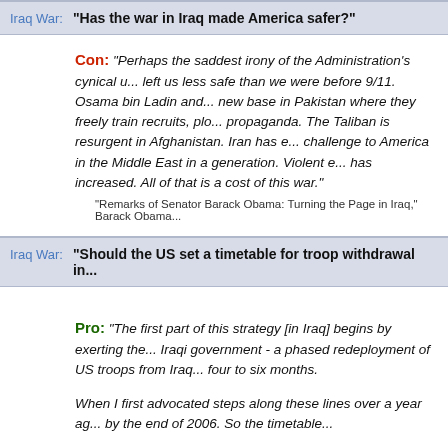Iraq War: "Has the war in Iraq made America safer?"
Con: "Perhaps the saddest irony of the Administration's cynical use of 9/11 is that the Iraq war has left us less safe than we were before 9/11. Osama bin Ladin and his top lieutenants have established a new base in Pakistan where they freely train recruits, plot new attacks, and disseminate propaganda. The Taliban is resurgent in Afghanistan. Iran has emerged as the most serious strategic challenge to America in the Middle East in a generation. Violent extremism in Iraq and the region has increased. All of that is a cost of this war."
"Remarks of Senator Barack Obama: Turning the Page in Iraq," Barack Obama...
Iraq War: "Should the US set a timetable for troop withdrawal in..."
Pro: "The first part of this strategy [in Iraq] begins by exerting the greatest leverage we have on the Iraqi government - a phased redeployment of US troops from Iraq to begin no later than four to six months.
When I first advocated steps along these lines over a year ago... by the end of 2006. So the timetable...